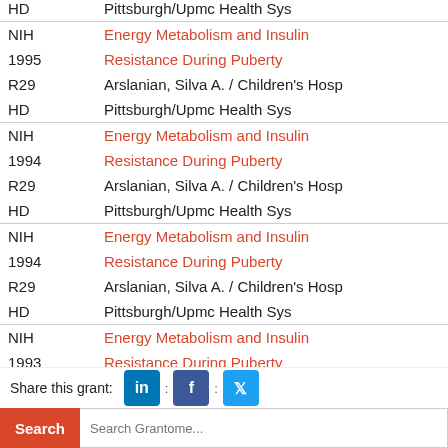| HD | Pittsburgh/Upmc Health Sys |
| NIH | Energy Metabolism and Insulin Resistance During Puberty |
| 1995 |  |
| R29 | Arslanian, Silva A. / Children's Hosp |
| HD | Pittsburgh/Upmc Health Sys |
| NIH | Energy Metabolism and Insulin Resistance During Puberty |
| 1994 |  |
| R29 | Arslanian, Silva A. / Children's Hosp |
| HD | Pittsburgh/Upmc Health Sys |
| NIH | Energy Metabolism and Insulin Resistance During Puberty |
| 1994 |  |
| R29 | Arslanian, Silva A. / Children's Hosp |
| HD | Pittsburgh/Upmc Health Sys |
| NIH | Energy Metabolism and Insulin Resistance During Puberty |
| 1993 | Resistance During Puberty |
| R29 | Arslanian, Silva A. / Children's Hosp |
| HD | Pittsburgh/Upmc Health Sys |
Share this grant:
Search Grantome...